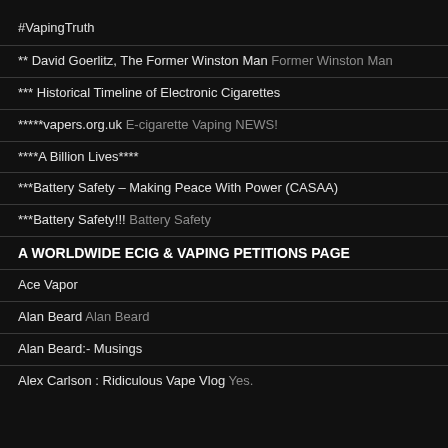#VapingTruth
** David Goerlitz, The Former Winston Man Former Winston Man
*** Historical Timeline of Electronic Cigarettes
*****vapers.org.uk E-cigarette Vaping NEWS!
****A Billion Lives****
***Battery Safety – Making Peace With Power (CASAA)
***Battery Safety!!! Battery Safety
A WORLDWIDE ECIG & VAPING PETITIONS PAGE
Ace Vapor
Alan Beard Alan Beard
Alan Beard:- Musings
Alex Carlson : Ridiculous Vape Vlog Yes.